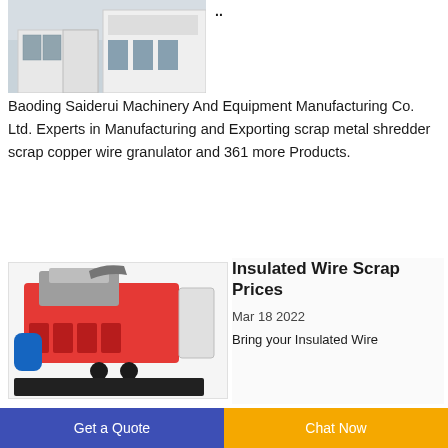[Figure (photo): Photo of a building/factory exterior, partially visible at top of page]
Baoding Saiderui Machinery And Equipment Manufacturing Co. Ltd. Experts in Manufacturing and Exporting scrap metal shredder scrap copper wire granulator and 361 more Products.
[Figure (photo): Photo of an industrial machine - insulated wire scrap copper granulator, red and grey colored heavy machinery]
Insulated Wire Scrap Prices
Mar 18 2022
Bring your Insulated Wire
Get a Quote   Chat Now